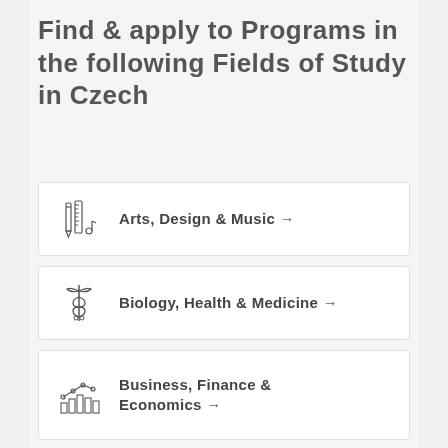Find & apply to Programs in the following Fields of Study in Czech
Arts, Design & Music →
Biology, Health & Medicine →
Business, Finance & Economics →
Engineering & Technology →
Geography & Agriculture →